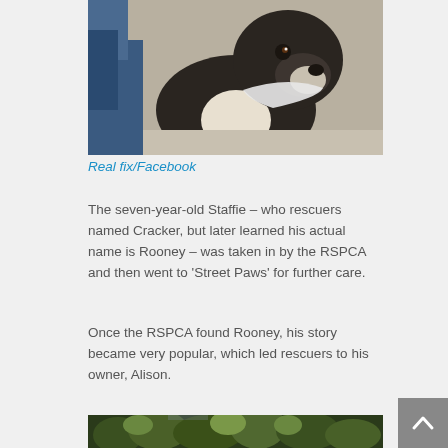[Figure (photo): A dark brindle Staffordshire Bull Terrier dog looking at the camera, photographed indoors. The dog has a white chest patch and is wearing a collar.]
Real fix/Facebook
The seven-year-old Staffie – who rescuers named Cracker, but later learned his actual name is Rooney – was taken in by the RSPCA and then went to 'Street Paws' for further care.
Once the RSPCA found Rooney, his story became very popular, which led rescuers to his owner, Alison.
[Figure (photo): An outdoor scene showing dense green shrubbery and plants.]